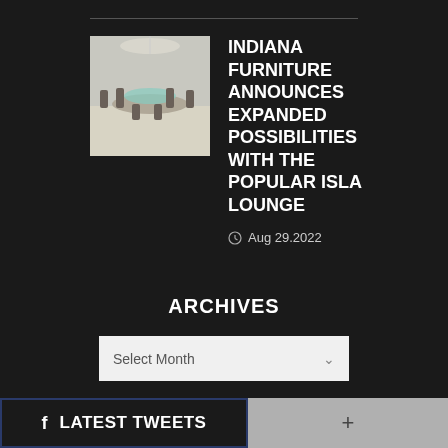[Figure (photo): Thumbnail image of a modern lounge/seating area with circular furniture arrangement]
INDIANA FURNITURE ANNOUNCES EXPANDED POSSIBILITIES WITH THE POPULAR ISLA LOUNGE
Aug 29.2022
ARCHIVES
Select Month
LATEST TWEETS